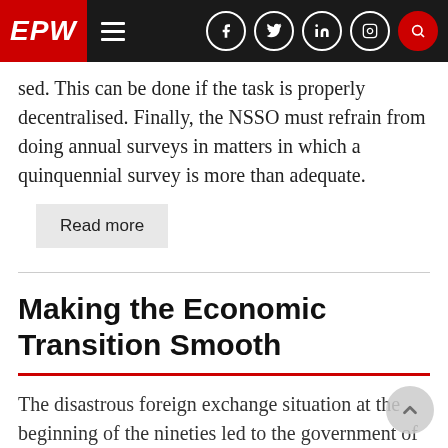EPW
sed. This can be done if the task is properly decentralised. Finally, the NSSO must refrain from doing annual surveys in matters in which a quinquennial survey is more than adequate.
Read more
Making the Economic Transition Smooth
The disastrous foreign exchange situation at the beginning of the nineties led to the government of the day setting out on the road to liberalisation, privatisation and